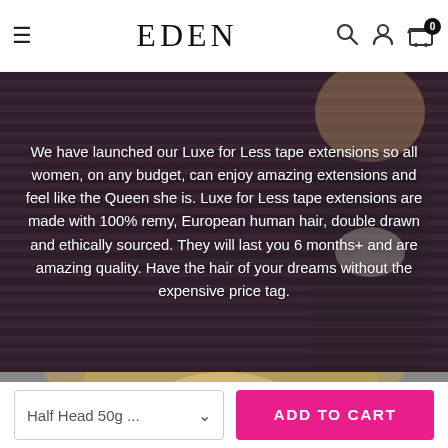EDEN — navigation bar with hamburger menu, logo, search, account, and cart (0 items)
[Figure (photo): Hero image of a blonde woman in a black outfit posing against horizontal striped background, with white overlay text describing Luxe for Less tape extensions]
We have launched our Luxe for Less tape extensions so all women, on any budget, can enjoy amazing extensions and feel like the Queen she is. Luxe for Less tape extensions are made with 100% remy, European human hair, double drawn and ethically sourced. They will last you 6 months+ and are amazing quality. Have the hair of your dreams without the expensive price tag.
[Figure (photo): Partial view of a second photo showing blonde woman from neck up]
Half Head 50g ...
ADD TO CART